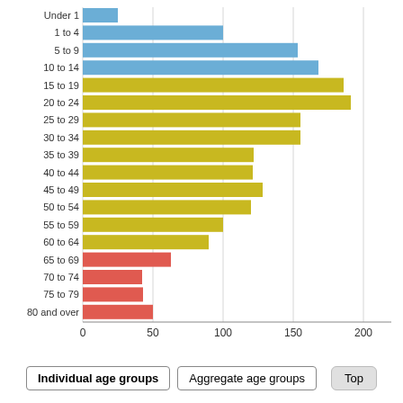[Figure (bar-chart): ]
Individual age groups
Aggregate age groups
Top